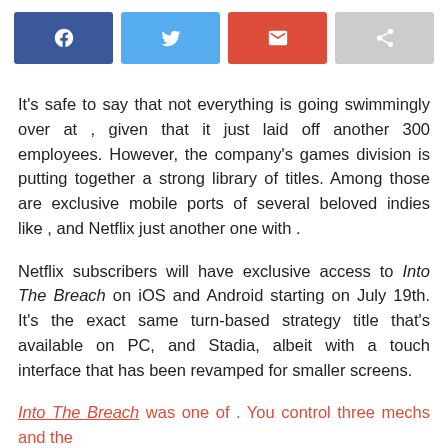[Figure (other): Social share buttons: Facebook (blue), Twitter (light blue), Email (red), Share (grey)]
It's safe to say that not everything is going swimmingly over at , given that it just laid off another 300 employees. However, the company's games division is putting together a strong library of titles. Among those are exclusive mobile ports of several beloved indies like , and Netflix just another one with .
Netflix subscribers will have exclusive access to Into The Breach on iOS and Android starting on July 19th. It's the exact same turn-based strategy title that's available on PC, and Stadia, albeit with a touch interface that has been revamped for smaller screens.
Into The Breach was one of . You control three mechs and the